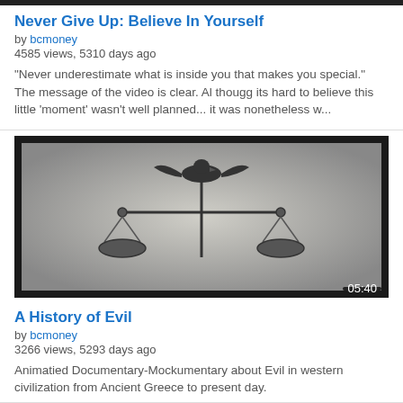Never Give Up: Believe In Yourself
by bcmoney
4585 views, 5310 days ago
"Never underestimate what is inside you that makes you special." The message of the video is clear. Al thougg its hard to believe this little 'moment' wasn't well planned... it was nonetheless w...
[Figure (screenshot): Video thumbnail showing a scales of justice with an eagle on top, in black and white. Duration overlay shows 05:40 in bottom right corner.]
A History of Evil
by bcmoney
3266 views, 5293 days ago
Animatied Documentary-Mockumentary about Evil in western civilization from Ancient Greece to present day.